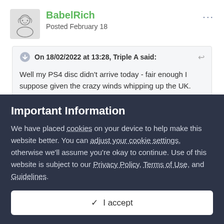BabelRich
Posted February 18
On 18/02/2022 at 13:28, Triple A said:
Well my PS4 disc didn't arrive today - fair enough I suppose given the crazy winds whipping up the UK.
Must stay strong and not buy digital then back the disc when it arrives!  I can do this!  Can I?
Important Information
We have placed cookies on your device to help make this website better. You can adjust your cookie settings, otherwise we'll assume you're okay to continue. Use of this website is subject to our Privacy Policy, Terms of Use, and Guidelines.
✓  I accept